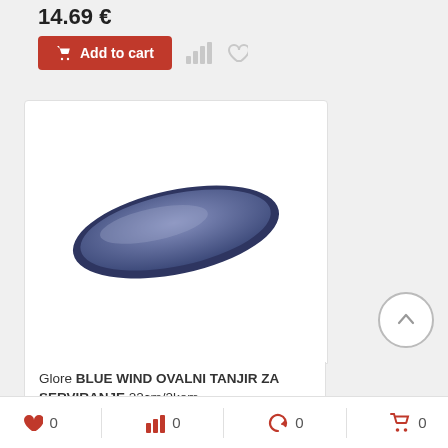14.69 €
[Figure (screenshot): Add to cart button (red) with bar chart icon and heart icon]
[Figure (photo): Glore Blue Wind oval serving plate, dark navy blue oval shape on white background]
Glore BLUE WIND OVALNI TANJIR ZA SERVIRANJE 22cm/2kom
14.69 €
[Figure (screenshot): Add to cart button (red, partial) with bar chart icon and heart icon]
[Figure (other): Scroll up circle button with upward arrow]
❤ 0  📊 0  🔄 0  🛒 0